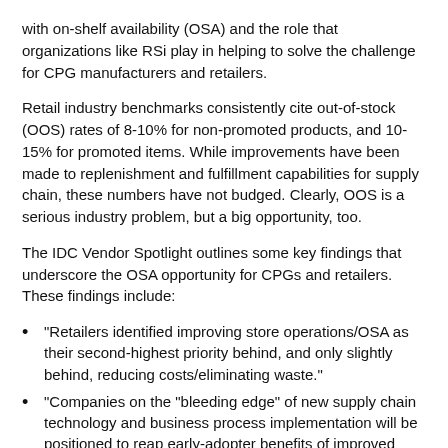with on-shelf availability (OSA) and the role that organizations like RSi play in helping to solve the challenge for CPG manufacturers and retailers.
Retail industry benchmarks consistently cite out-of-stock (OOS) rates of 8-10% for non-promoted products, and 10-15% for promoted items. While improvements have been made to replenishment and fulfillment capabilities for supply chain, these numbers have not budged. Clearly, OOS is a serious industry problem, but a big opportunity, too.
The IDC Vendor Spotlight outlines some key findings that underscore the OSA opportunity for CPGs and retailers. These findings include:
“Retailers identified improving store operations/OSA as their second-highest priority behind, and only slightly behind, reducing costs/eliminating waste.”
“Companies on the “bleeding edge” of new supply chain technology and business process implementation will be positioned to reap early-adopter benefits of improved OSA.”
“OSA will be far more important in a world where online selling and direct-to-consumer delivery (often same day)